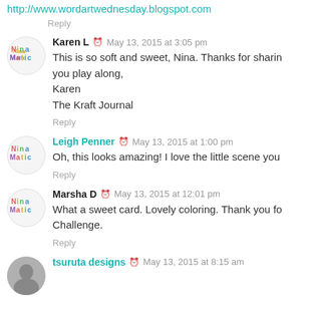http://www.wordartwednesday.blogspot.com
Reply
Karen L  May 13, 2015 at 3:05 pm
This is so soft and sweet, Nina. Thanks for sharing you play along, Karen The Kraft Journal
Reply
Leigh Penner  May 13, 2015 at 1:00 pm
Oh, this looks amazing! I love the little scene you
Reply
Marsha D  May 13, 2015 at 12:01 pm
What a sweet card. Lovely coloring. Thank you for Challenge.
Reply
tsuruta designs  May 13, 2015 at 8:15 am